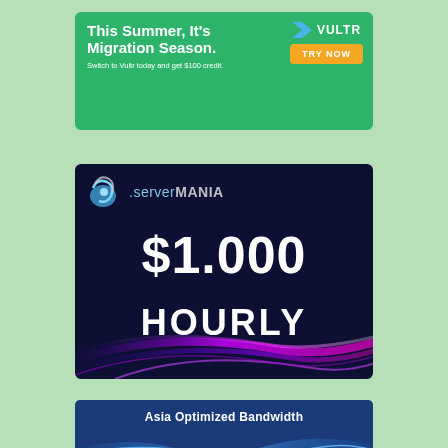[Figure (illustration): Vultr advertisement banner: green background, text 'This Summer, It's Migration Season. Switch to Vultr today and get $100 credit.' with orange 'TRY NOW' button and Vultr logo with blue chevron.]
[Figure (illustration): ServerMania advertisement: dark navy background, ServerMania logo with blue swirl icon, large white text '$1.000 HOURLY', purple/magenta swoosh lines at bottom.]
[Figure (illustration): Asia Optimized Bandwidth advertisement: dark blue background with bold white text 'Asia Optimized Bandwidth' and blue wave graphic at bottom.]